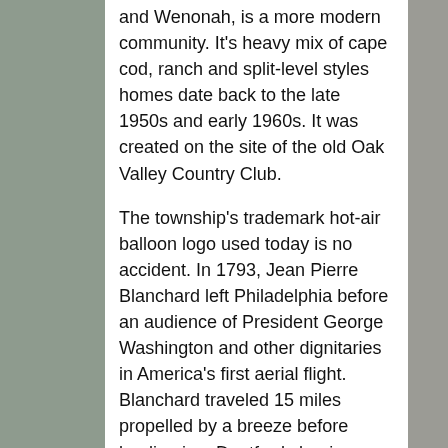and Wenonah, is a more modern community. It's heavy mix of cape cod, ranch and split-level styles homes date back to the late 1950s and early 1960s. It was created on the site of the old Oak Valley Country Club.
The township's trademark hot-air balloon logo used today is no accident. In 1793, Jean Pierre Blanchard left Philadelphia before an audience of President George Washington and other dignitaries in America's first aerial flight. Blanchard traveled 15 miles propelled by a breeze before landing in a Deptford clearing about 46 minutes after take-off. Today, a balloon adorns municipal signs, water towers and stationery used in the township.
It was after World War II that the township's population began to explode as